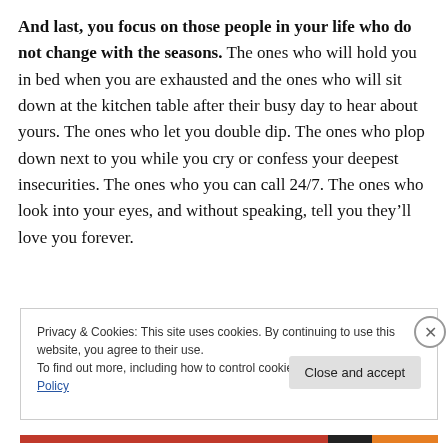And last, you focus on those people in your life who do not change with the seasons. The ones who will hold you in bed when you are exhausted and the ones who will sit down at the kitchen table after their busy day to hear about yours. The ones who let you double dip. The ones who plop down next to you while you cry or confess your deepest insecurities. The ones who you can call 24/7. The ones who look into your eyes, and without speaking, tell you they'll love you forever.
Privacy & Cookies: This site uses cookies. By continuing to use this website, you agree to their use. To find out more, including how to control cookies, see here: Cookie Policy